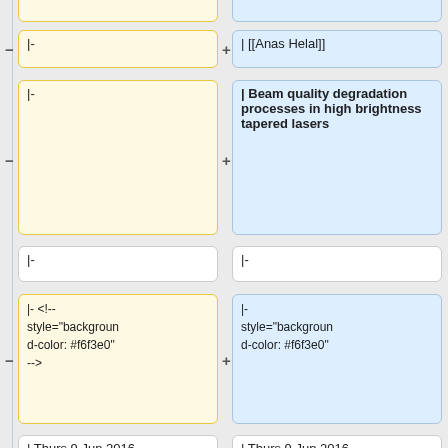|-
| [[Anas Helal]]
|-
| Beam quality degradation processes in high brightness tapered lasers
|-
|-
|- <!-- style="background-color: #f6f3e0" -->
|- style="background-color: #f6f3e0"
| Thurs 9 Jun 2016
| Thurs 9 Jun 2016
| 13:00
| 13:00
| B3 Life sciences (biology) building
| B3 Life sciences (biology) building